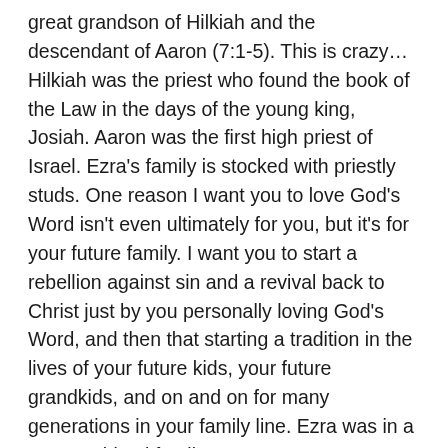great grandson of Hilkiah and the descendant of Aaron (7:1-5).  This is crazy…  Hilkiah was the priest who found the book of the Law in the days of the young king, Josiah.  Aaron was the first high priest of Israel.  Ezra's family is stocked with priestly studs.  One reason I want you to love God's Word isn't even ultimately for you, but it's for your future family.  I want you to start a rebellion against sin and a revival back to Christ just by you personally loving God's Word, and then that starting a tradition in the lives of your future kids, your future grandkids, and on and on for many generations in your family line.  Ezra was in a super spiritual family.

          Second, Ezra left Babylonia (7:6).  What was he doing there?  God was disciplining His people by having them conquered, captured, and carried away by Babylon in 586 B.C.  Fifty years later, Persia conquered Babylon, and